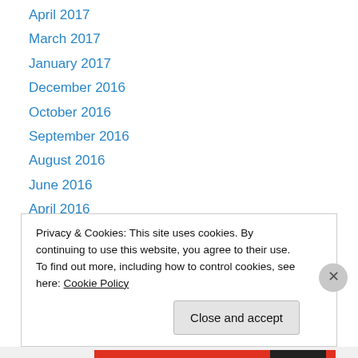April 2017
March 2017
January 2017
December 2016
October 2016
September 2016
August 2016
June 2016
April 2016
March 2016
February 2016
January 2016
December 2015
Privacy & Cookies: This site uses cookies. By continuing to use this website, you agree to their use.
To find out more, including how to control cookies, see here: Cookie Policy
Close and accept